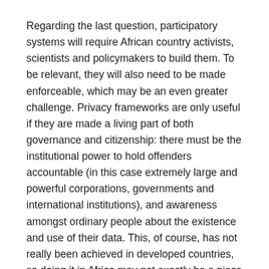Regarding the last question, participatory systems will require African country activists, scientists and policymakers to build them. To be relevant, they will also need to be made enforceable, which may be an even greater challenge. Privacy frameworks are only useful if they are made a living part of both governance and citizenship: there must be the institutional power to hold offenders accountable (in this case extremely large and powerful corporations, governments and international institutions), and awareness amongst ordinary people about the existence and use of their data. This, of course, has not really been achieved in developed countries, so doing it in Africa may not exactly be a piece of cake.
Notwithstanding these challenges, the region offers an opportunity to push researchers and policymakers – local and worldwide – to think clearly about the risks and benefits of big data, and to make solutions workable, enforceable and